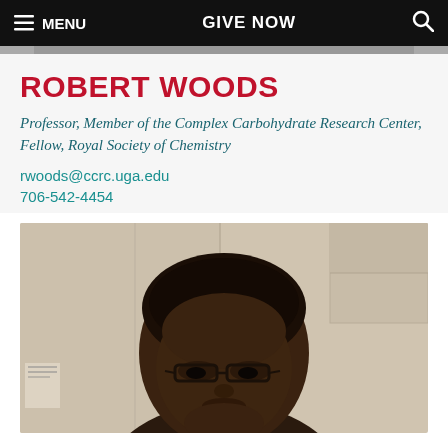MENU   GIVE NOW   [search]
ROBERT WOODS
Professor, Member of the Complex Carbohydrate Research Center, Fellow, Royal Society of Chemistry
rwoods@ccrc.uga.edu
706-542-4454
[Figure (photo): Headshot photo of a person wearing glasses, viewed from slightly below, with a beige/white office background]